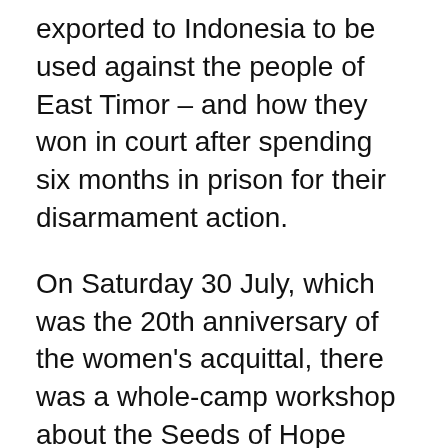exported to Indonesia to be used against the people of East Timor – and how they won in court after spending six months in prison for their disarmament action.
On Saturday 30 July, which was the 20th anniversary of the women's acquittal, there was a whole-camp workshop about the Seeds of Hope action, designed and run by the four women on site. It got rave reviews, with evaluation forms giving it 9.8 out of 10 on average.
People wrote afterwards: 'I felt like I was sharing a profound experience and that I was inspired and educated. I also liked that we did a ritual for those who lost their lives in East Timor.' 'I liked that it was done collectively. Empowering